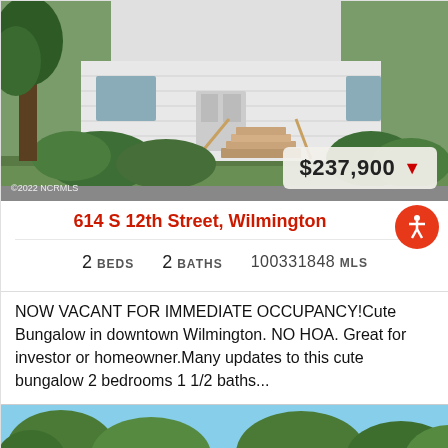[Figure (photo): Exterior photo of a white bungalow house with wooden steps, surrounded by green shrubs and trees. Price badge showing $237,900 with a red down arrow in bottom right. Copyright watermark '©2022 NCRMLS' in bottom left.]
614 S 12th Street, Wilmington
2 BEDS   2 BATHS   100331848 MLS
NOW VACANT FOR IMMEDIATE OCCUPANCY!Cute Bungalow in downtown Wilmington. NO HOA. Great for investor or homeowner.Many updates to this cute bungalow 2 bedrooms 1 1/2 baths...
[Figure (photo): Partial exterior photo of a property with trees and blue sky visible at the bottom of the page.]